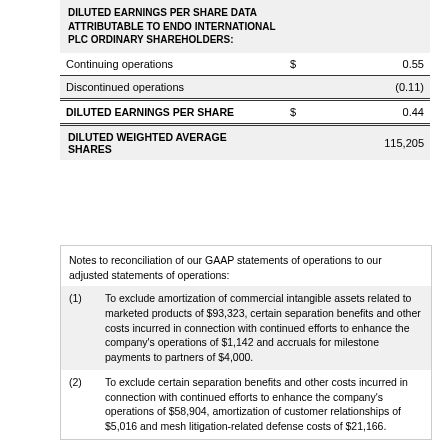|  |  |  |
| --- | --- | --- |
| DILUTED EARNINGS PER SHARE DATA ATTRIBUTABLE TO ENDO INTERNATIONAL PLC ORDINARY SHAREHOLDERS: |  |  |
| Continuing operations | $ | 0.55 |
| Discontinued operations |  | (0.11) |
| DILUTED EARNINGS PER SHARE | $ | 0.44 |
| DILUTED WEIGHTED AVERAGE SHARES |  | 115,205 |
Notes to reconciliation of our GAAP statements of operations to our adjusted statements of operations:
(1) To exclude amortization of commercial intangible assets related to marketed products of $93,323, certain separation benefits and other costs incurred in connection with continued efforts to enhance the company's operations of $1,142 and accruals for milestone payments to partners of $4,000.
(2) To exclude certain separation benefits and other costs incurred in connection with continued efforts to enhance the company's operations of $58,904, amortization of customer relationships of $5,016 and mesh litigation-related defense costs of $21,166.